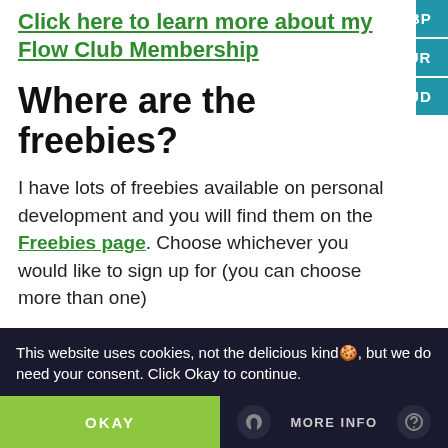Click here to learn more about my Flow Club Membership
Where are the freebies?
I have lots of freebies available on personal development and you will find them on the Freebies page. Choose whichever you would like to sign up for (you can choose more than one)
Wishing you all the best in life, love, happiness and abundance
This website uses cookies, not the delicious kind🍪, but we do need your consent. Click Okay to continue.